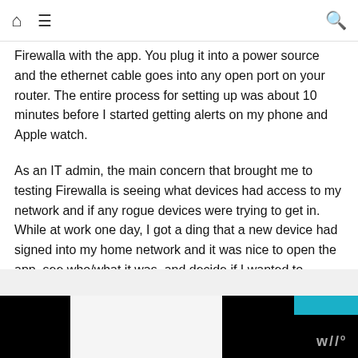Home | Menu | Search
Firewalla with the app. You plug it into a power source and the ethernet cable goes into any open port on your router. The entire process for setting up was about 10 minutes before I started getting alerts on my phone and Apple watch.
As an IT admin, the main concern that brought me to testing Firewalla is seeing what devices had access to my network and if any rogue devices were trying to get in. While at work one day, I got a ding that a new device had signed into my home network and it was nice to open the app, see who/what it was, and decide if I wanted to continue access to that device.